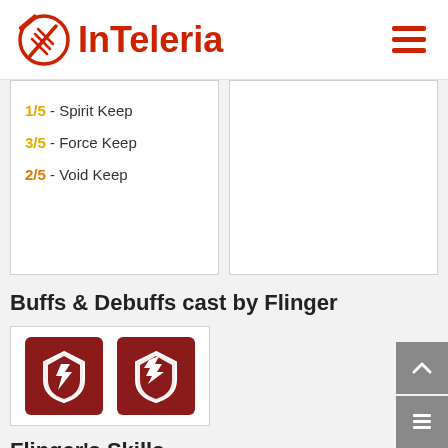InTeleria
1/5 - Spirit Keep
3/5 - Force Keep
2/5 - Void Keep
Buffs & Debuffs cast by Flinger
[Figure (illustration): Two red shield buff/debuff icons with white lightning bolt designs]
Flinger's Skills
[Figure (illustration): Gold circular skill icon with shield and crack design]